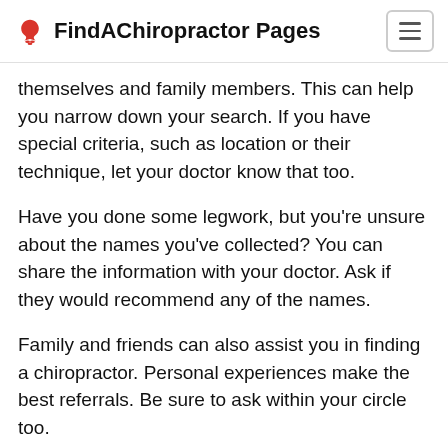FindAChiropractor Pages
themselves and family members. This can help you narrow down your search. If you have special criteria, such as location or their technique, let your doctor know that too.
Have you done some legwork, but you're unsure about the names you've collected? You can share the information with your doctor. Ask if they would recommend any of the names.
Family and friends can also assist you in finding a chiropractor. Personal experiences make the best referrals. Be sure to ask within your circle too.